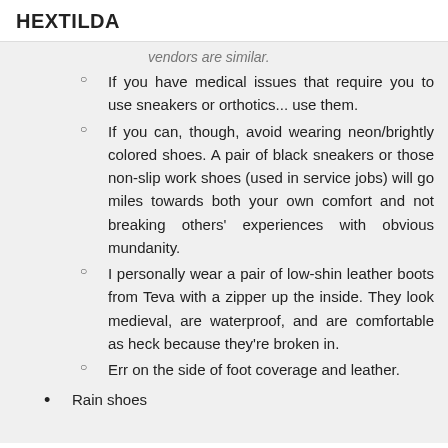HEXTILDA
vendors are similar.
If you have medical issues that require you to use sneakers or orthotics... use them.
If you can, though, avoid wearing neon/brightly colored shoes. A pair of black sneakers or those non-slip work shoes (used in service jobs) will go miles towards both your own comfort and not breaking others' experiences with obvious mundanity.
I personally wear a pair of low-shin leather boots from Teva with a zipper up the inside. They look medieval, are waterproof, and are comfortable as heck because they're broken in.
Err on the side of foot coverage and leather.
Rain shoes